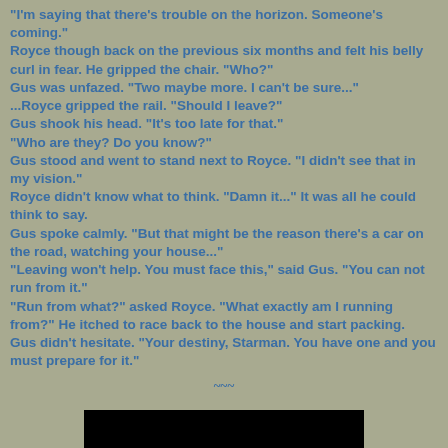"I'm saying that there's trouble on the horizon. Someone's coming." Royce though back on the previous six months and felt his belly curl in fear. He gripped the chair. "Who?" Gus was unfazed. "Two maybe more. I can't be sure..." ...Royce gripped the rail. "Should I leave?" Gus shook his head. "It's too late for that." "Who are they? Do you know?" Gus stood and went to stand next to Royce. "I didn't see that in my vision." Royce didn't know what to think. "Damn it..." It was all he could think to say. Gus spoke calmly. "But that might be the reason there's a car on the road, watching your house..." "Leaving won't help. You must face this," said Gus. "You can not run from it." "Run from what?" asked Royce. "What exactly am I running from?" He itched to race back to the house and start packing. Gus didn't hesitate. "Your destiny, Starman. You have one and you must prepare for it."
~~~
[Figure (photo): Black rectangle at bottom center of page]